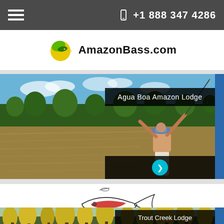+1 888 347 4286
[Figure (logo): AmazonBass.com logo with green leaf and yellow circle bird icon]
[Figure (photo): Fishing scene on Amazon river with angler casting; overlay label 'Agua Boa Amazon Lodge' and cyan arrow button]
[Figure (logo): Steelhead Valhalla logo with fish outline and red accent]
[Figure (photo): Forest/woodland scene with overlay label 'Trout Creek Lodge']